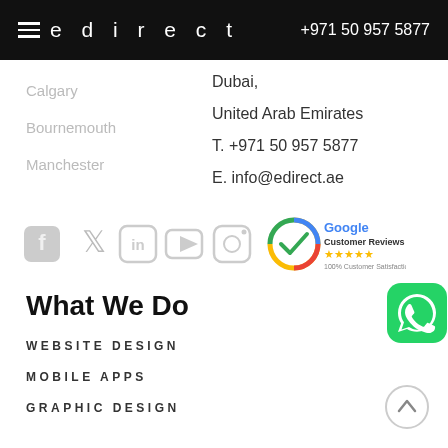edirect  +971 50 957 5877
Dubai,
United Arab Emirates
T. +971 50 957 5877
E. info@edirect.ae
Calgary
Bournemouth
Manchester
[Figure (logo): Social media icons: Facebook, Twitter, LinkedIn, YouTube, Instagram; and Google Customer Reviews badge with 5 stars and 100% Customer Satisfaction]
What We Do
WEBSITE DESIGN
MOBILE APPS
GRAPHIC DESIGN
[Figure (logo): WhatsApp button icon (green rounded square with phone handset)]
[Figure (other): Scroll to top button (circular arrow up icon)]